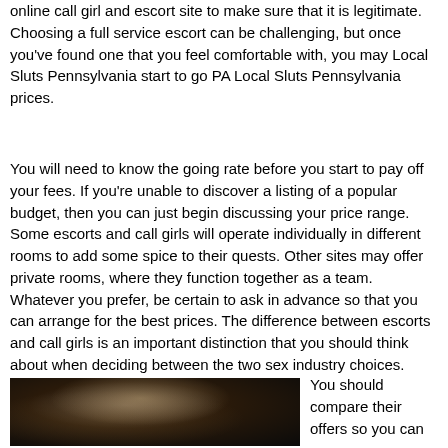online call girl and escort site to make sure that it is legitimate. Choosing a full service escort can be challenging, but once you've found one that you feel comfortable with, you may Local Sluts Pennsylvania start to go PA Local Sluts Pennsylvania prices.
You will need to know the going rate before you start to pay off your fees. If you're unable to discover a listing of a popular budget, then you can just begin discussing your price range. Some escorts and call girls will operate individually in different rooms to add some spice to their quests. Other sites may offer private rooms, where they function together as a team. Whatever you prefer, be certain to ask in advance so that you can arrange for the best prices. The difference between escorts and call girls is an important distinction that you should think about when deciding between the two sex industry choices.
[Figure (photo): Dark photograph showing a blurred figure with light hair against a dark background]
You should compare their offers so you can